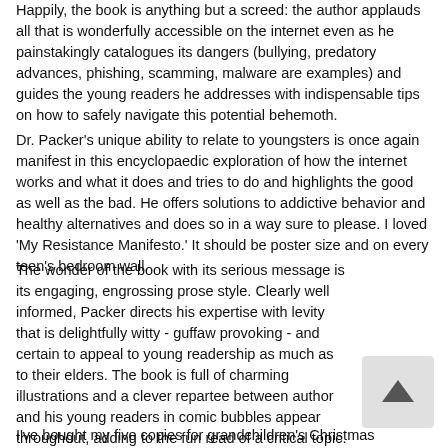Happily, the book is anything but a screed: the author applauds all that is wonderfully accessible on the internet even as he painstakingly catalogues its dangers (bullying, predatory advances, phishing, scamming, malware are examples) and guides the young readers he addresses with indispensable tips on how to safely navigate this potential behemoth.
Dr. Packer's unique ability to relate to youngsters is once again manifest in this encyclopaedic exploration of how the internet works and what it does and tries to do and highlights the good as well as the bad. He offers solutions to addictive behavior and healthy alternatives and does so in a way sure to please. I loved 'My Resistance Manifesto.' It should be poster size and on every teen's bedroom wall.
The wonder of the book with its serious message is its engaging, engrossing prose style. Clearly well informed, Packer directs his expertise with levity that is delightfully witty - guffaw provoking - and certain to appeal to young readership as much as to their elders. The book is full of charming illustrations and a clever repartee between author and his young readers in comic bubbles appear throughout, adding to the fun read of a critical topic.
I've bought my five copies for grandchildren's Christmas stockings. I